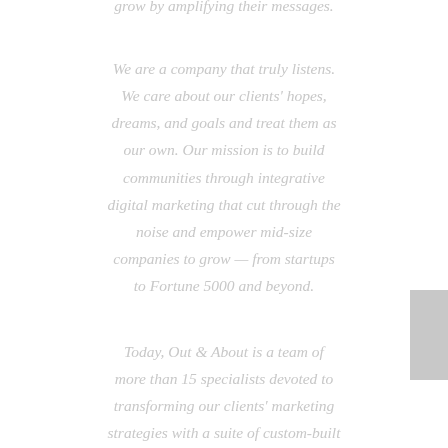grow by amplifying their messages.
We are a company that truly listens. We care about our clients' hopes, dreams, and goals and treat them as our own. Our mission is to build communities through integrative digital marketing that cut through the noise and empower mid-size companies to grow — from startups to Fortune 5000 and beyond.
Today, Out & About is a team of more than 15 specialists devoted to transforming our clients' marketing strategies with a suite of custom-built